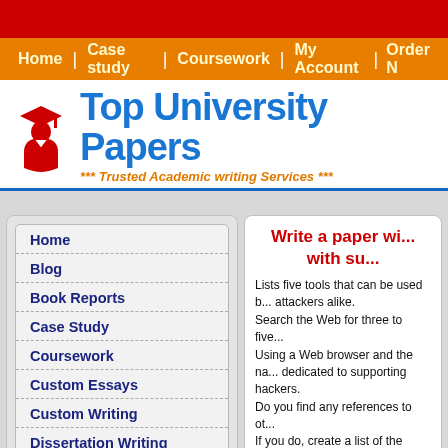[Figure (screenshot): Top University Papers website screenshot showing navigation bar, logo, sidebar menu, and content area]
Top University Papers
*** Trusted Academic writing Services ***
Home
Blog
Book Reports
Case Study
Coursework
Custom Essays
Custom Writing
Dissertation Writing
Write a paper wi... with su...
Lists five tools that can be used b... attackers alike.
Search the Web for three to five...
Using a Web browser and the na... dedicated to supporting hackers.
Do you find any references to ot...
If you do, create a list of the too... how the tools work.

You can place an order similar... custom paper delivered within... support all through.